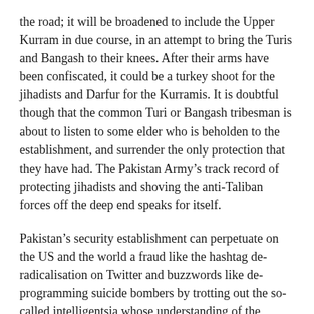the road; it will be broadened to include the Upper Kurram in due course, in an attempt to bring the Turis and Bangash to their knees. After their arms have been confiscated, it could be a turkey shoot for the jihadists and Darfur for the Kurramis. It is doubtful though that the common Turi or Bangash tribesman is about to listen to some elder who is beholden to the establishment, and surrender the only protection that they have had. The Pakistan Army’s track record of protecting jihadists and shoving the anti-Taliban forces off the deep end speaks for itself.
Pakistan’s security establishment can perpetuate on the US and the world a fraud like the hashtag de-radicalisation on Twitter and buzzwords like de-programming suicide bombers by trotting out the so-called intelligentsia whose understanding of the Pashtun issues is woefully flawed. But it is unlikely that Kurramis are about to fall for this sham of an operation that paves the way for their genocide.